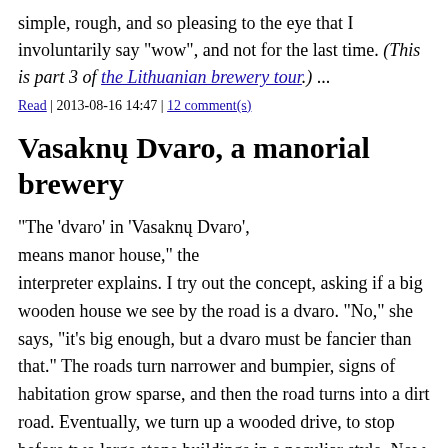simple, rough, and so pleasing to the eye that I involuntarily say "wow", and not for the last time. (This is part 3 of the Lithuanian brewery tour.) ...
Read | 2013-08-16 14:47 | 12 comment(s)
Vasaknų Dvaro, a manorial brewery
"The 'dvaro' in 'Vasaknų Dvaro', means manor house," the interpreter explains. I try out the concept, asking if a big wooden house we see by the road is a dvaro. "No," she says, "it's big enough, but a dvaro must be fancier than that." The roads turn narrower and bumpier, signs of habitation grow sparse, and then the road turns into a dirt road. Eventually, we turn up a wooded drive, to stop before two large stone buildings in a peculiar style. Now I see what she meant. (This is part 2 of the Lithuanian brewery tour.)